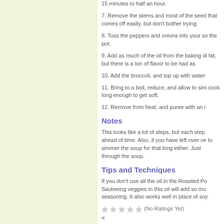15 minutes to half an hour.
7. Remove the stems and most of the seed that comes off easily, but don't bother trying
8. Toss the peppers and onions into your so the pot.
9. Add as much of the oil from the baking di fat, but there is a ton of flavor to be had as
10. Add the broccoli, and top up with water
11. Bring to a boil, reduce, and allow to sim cook long enough to get soft.
12. Remove from heat, and puree with an i
Notes
This looks like a lot of steps, but each step ahead of time. Also, if you have left over ve to simmer the soup for that long either. Just through the soup.
Tips and Techniques
If you don't use all the oil in the Roasted Po Sauteeing veggies in this oil will add so mu seasoning. It also works well in place of soy
(No Ratings Yet)